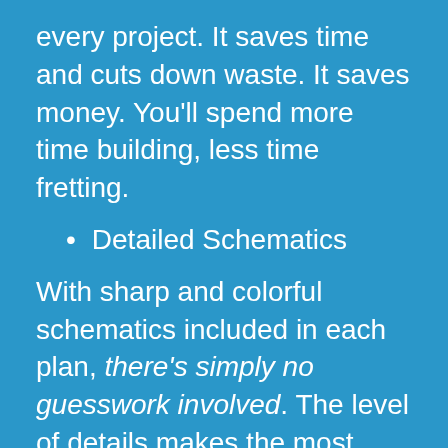every project. It saves time and cuts down waste. It saves money. You'll spend more time building, less time fretting.
Detailed Schematics
With sharp and colorful schematics included in each plan, there's simply no guesswork involved. The level of details makes the most challenging project a walk in the park!
View From All Angles
You get intricate details of every angle, every corner, every joint. The plans will NEVER leave